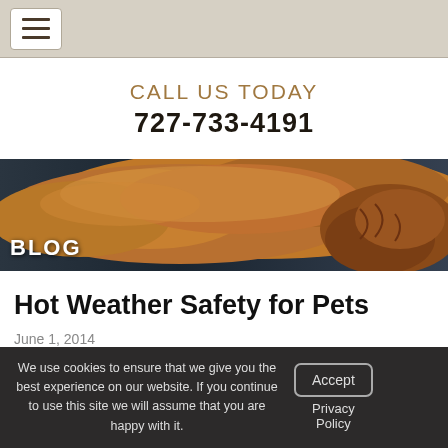Navigation menu bar with hamburger icon
CALL US TODAY
727-733-4191
[Figure (photo): A large reddish-brown dog (likely Dogue de Bordeaux) lying down, viewed from above, with 'BLOG' text overlay in the lower left]
Hot Weather Safety for Pets
June 1, 2014
We use cookies to ensure that we give you the best experience on our website. If you continue to use this site we will assume that you are happy with it.